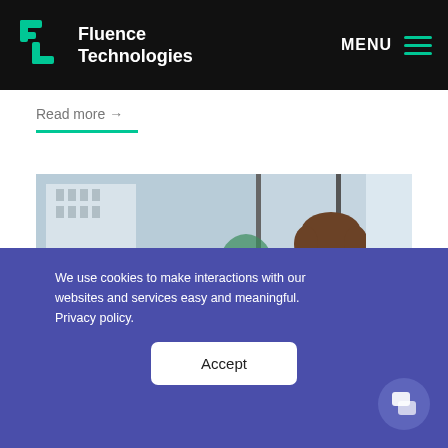Fluence Technologies | MENU
Read more →
[Figure (photo): A man with a beard sitting at a desk with a laptop and a book, smiling in a bright office environment with windows in the background]
We use cookies to make interactions with our websites and services easy and meaningful. Privacy policy.
Accept